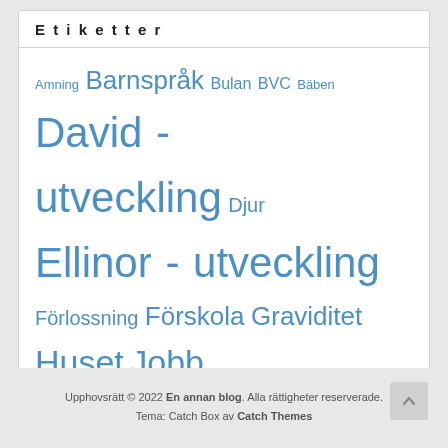Etiketter
Amning Barnspråk Bulan BVC Bäben David - utveckling Djur Ellinor - utveckling Förlossning Förskola Graviditet Huset Jobb Jämställdhet Kläder o skor Konst Känslor Livet utan barn Läsa Mammatrix Mat o dryck Musik New York Ninja Norge Potträning Pyssel Resor S - som i pappaledig Saga Scouting Separation S gästbloggar Shopping Sjukdom Skola Sluta med napp Spel Sport Sömn Tobias - utveckling Trädgård Tween Uncategorized Utflykter
Upphovsrätt © 2022 En annan blog. Alla rättigheter reserverade. Tema: Catch Box av Catch Themes